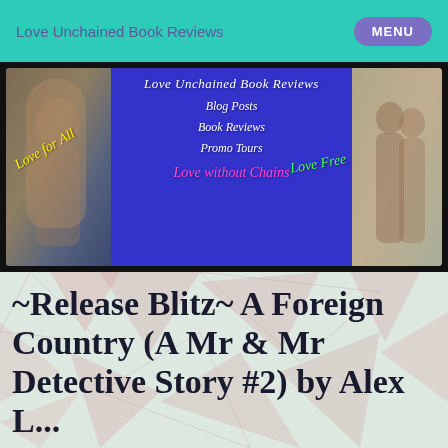Love Unchained Book Reviews  MENU
[Figure (illustration): Website banner for Love Unchained Book Reviews with blue background, two photos of couples on either side, cursive white text showing site name, navigation links (Blog Posts, Book Reviews, Promo Tours), yellow cursive 'Love for All', green cursive 'Love Free', and pink cursive 'Love without Chains']
~Release Blitz~ A Foreign Country (A Mr & Mr Detective Story #2) by Alex L...